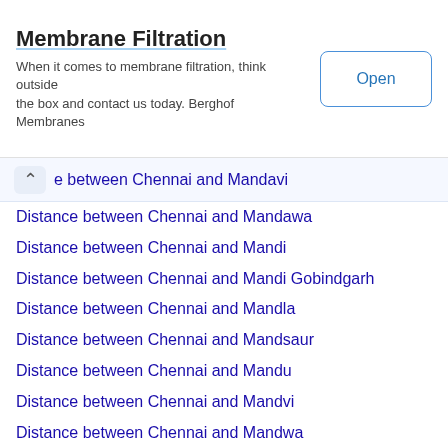[Figure (other): Advertisement banner for Membrane Filtration with Open button]
e between Chennai and Mandavi
Distance between Chennai and Mandawa
Distance between Chennai and Mandi
Distance between Chennai and Mandi Gobindgarh
Distance between Chennai and Mandla
Distance between Chennai and Mandsaur
Distance between Chennai and Mandu
Distance between Chennai and Mandvi
Distance between Chennai and Mandwa
Distance between Chennai and Mandya
Distance between Chennai and Manesar
Distance between Chennai and Mangalajodi
Distance between Chennai and Mangalore
Distance between Chennai and Mangan
Distance between Chennai and Manihari
Distance between Chennai and Manilkara (partially visible)